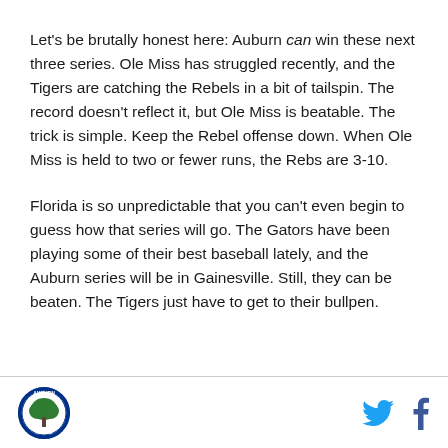Let's be brutally honest here: Auburn can win these next three series. Ole Miss has struggled recently, and the Tigers are catching the Rebels in a bit of tailspin. The record doesn't reflect it, but Ole Miss is beatable. The trick is simple. Keep the Rebel offense down. When Ole Miss is held to two or fewer runs, the Rebs are 3-10.
Florida is so unpredictable that you can't even begin to guess how that series will go. The Gators have been playing some of their best baseball lately, and the Auburn series will be in Gainesville. Still, they can be beaten. The Tigers just have to get to their bullpen.
[Auburn logo] [Twitter icon] [Facebook icon]